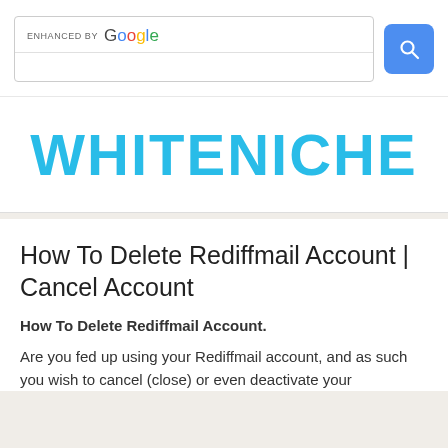[Figure (screenshot): Google enhanced search box with search button]
WHITENICHE
How To Delete Rediffmail Account | Cancel Account
How To Delete Rediffmail Account.
Are you fed up using your Rediffmail account, and as such you wish to cancel (close) or even deactivate your